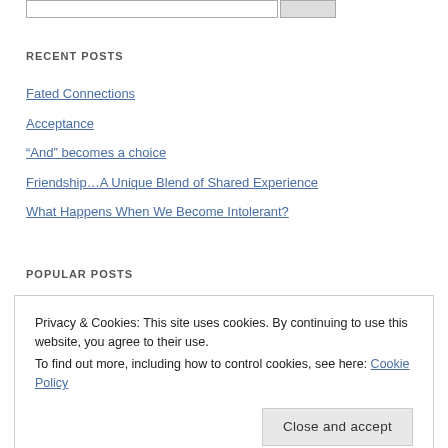RECENT POSTS
Fated Connections
Acceptance
“And” becomes a choice
Friendship…A Unique Blend of Shared Experience
What Happens When We Become Intolerant?
POPULAR POSTS
Privacy & Cookies: This site uses cookies. By continuing to use this website, you agree to their use.
To find out more, including how to control cookies, see here: Cookie Policy
Close and accept